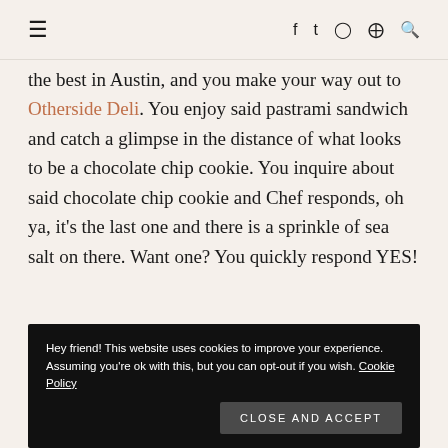≡ f t ⊙ ⊕ 🔍
the best in Austin, and you make your way out to Otherside Deli. You enjoy said pastrami sandwich and catch a glimpse in the distance of what looks to be a chocolate chip cookie. You inquire about said chocolate chip cookie and Chef responds, oh ya, it's the last one and there is a sprinkle of sea salt on there. Want one? You quickly respond YES!
Hey friend! This website uses cookies to improve your experience. Assuming you're ok with this, but you can opt-out if you wish. Cookie Policy
Close and accept